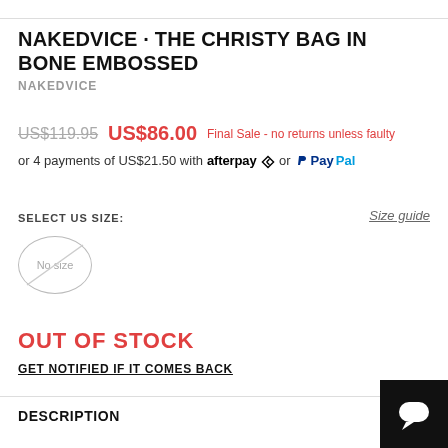NAKEDVICE - THE CHRISTY BAG IN BONE EMBOSSED
NAKEDVICE
US$119.95  US$86.00  Final Sale - no returns unless faulty
or 4 payments of US$21.50 with afterpay or PayPal
SELECT US SIZE:
Size guide
No size
OUT OF STOCK
GET NOTIFIED IF IT COMES BACK
DESCRIPTION